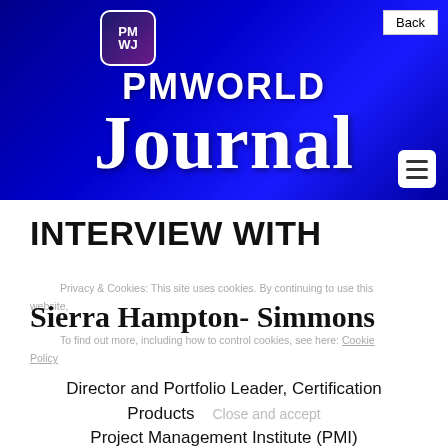[Figure (logo): PM World Journal banner with logo icon showing PMWJ letters, large PMWORLD text and Journal in serif font on dark blue gradient background, with Back button top right and hamburger menu bottom right]
INTERVIEW WITH
Privacy & Cookies: This site uses cookies. By continuing to use this website,
Sierra Hampton- Simmons
To find out more, including how to control cookies, see here: Cookie Policy
Director and Portfolio Leader, Certification Products
Project Management Institute (PMI)
Close and accept